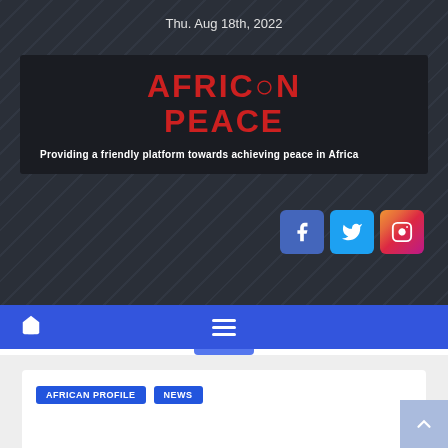Thu. Aug 18th, 2022
[Figure (logo): African Peace website logo — red bold text reading AFRICAN PEACE on a dark background, with tagline 'Providing a friendly platform towards achieving peace in Africa']
[Figure (infographic): Social media icons: Facebook (blue), Twitter (light blue), Instagram (gradient) buttons]
[Figure (infographic): Navigation bar with home icon and hamburger menu icon on a blue background]
AFRICAN PROFILE   NEWS